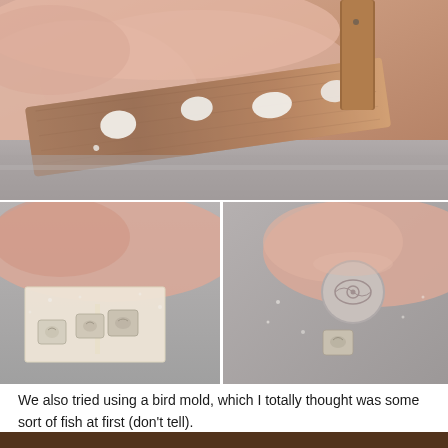[Figure (photo): Top photo showing a wooden board or tray covered with pink/beige powder (salt or similar), with white irregular chalk-like shapes placed on top of the board, on a metal surface.]
[Figure (photo): Bottom-left photo showing small molded shapes (bird molds) on parchment paper on a metal tray, dusted with pink powder, three small square-ish pieces with bird impressions.]
[Figure (photo): Bottom-right photo showing a round stamp/mold with an eye design pressed into a circular piece, and a small bird-shaped molded piece beside it on a pink-powder-dusted metal surface.]
We also tried using a bird mold, which I totally thought was some sort of fish at first (don't tell).
[Figure (photo): Partial bottom strip showing a dark brown wooden surface.]